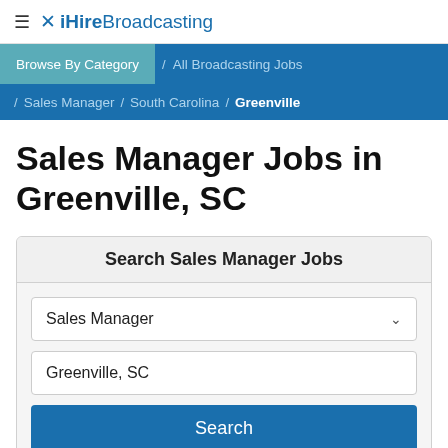≡ iHireBroadcasting
Browse By Category / All Broadcasting Jobs / Sales Manager / South Carolina / Greenville
Sales Manager Jobs in Greenville, SC
Search Sales Manager Jobs
Sales Manager
Greenville, SC
Search